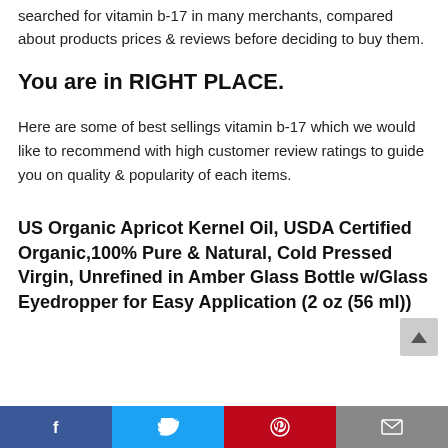searched for vitamin b-17 in many merchants, compared about products prices & reviews before deciding to buy them.
You are in RIGHT PLACE.
Here are some of best sellings vitamin b-17 which we would like to recommend with high customer review ratings to guide you on quality & popularity of each items.
US Organic Apricot Kernel Oil, USDA Certified Organic,100% Pure & Natural, Cold Pressed Virgin, Unrefined in Amber Glass Bottle w/Glass Eyedropper for Easy Application (2 oz (56 ml))
Social share bar: Facebook, Twitter, Pinterest, Email